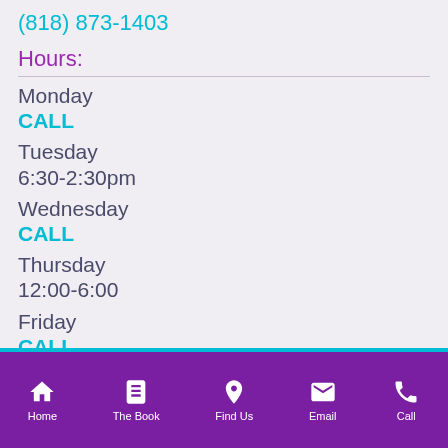(818) 873-1403
Hours:
Monday
CALL
Tuesday
6:30-2:30pm
Wednesday
CALL
Thursday
12:00-6:00
Friday
CALL
Home  The Book  Find Us  Email  Call